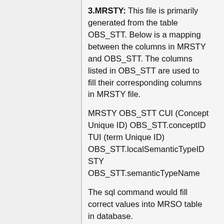3.MRSTY: This file is primarily generated from the table OBS_STT. Below is a mapping between the columns in MRSTY and OBS_STT. The columns listed in OBS_STT are used to fill their corresponding columns in MRSTY file.
MRSTY OBS_STT CUI (Concept Unique ID) OBS_STT.conceptID TUI (term Unique ID) OBS_STT.localSemanticTypeID STY OBS_STT.semanticTypeName
The sql command would fill correct values into MRSO table in database.
Example entry row:
C0027051|T047|Disease or Syndrome|
4.st.raw: This file is primarily generated from the column semanticTypeName in the table OBS_STT. This file contains